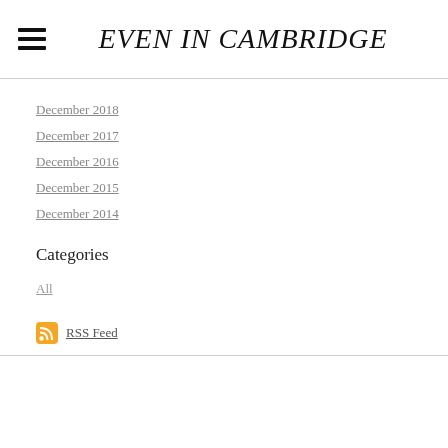EVEN IN CAMBRIDGE
December 2018
December 2017
December 2016
December 2015
December 2014
Categories
All
RSS Feed